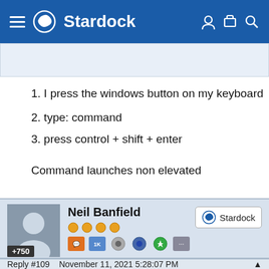Stardock
1. I press the windows button on my keyboard
2. type: command
3. press control + shift + enter
Command launches non elevated
Neil Banfield
+750
Reply #109    November 11, 2021 5:28:07 PM
Quoting TankBob, reply 108